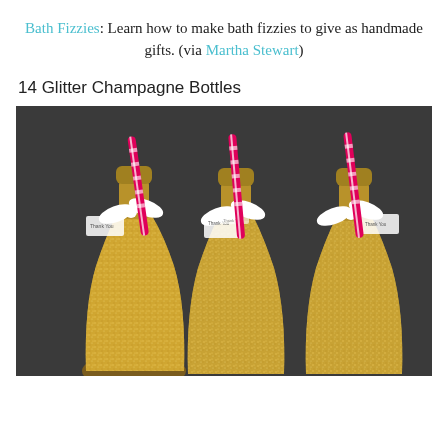Bath Fizzies: Learn how to make bath fizzies to give as handmade gifts. (via Martha Stewart)
14 Glitter Champagne Bottles
[Figure (photo): Three gold glitter-covered mini champagne bottles with white bows and pink and white striped paper straws, on a dark gray background. Each bottle has a small 'Thank You' tag attached to the bow.]